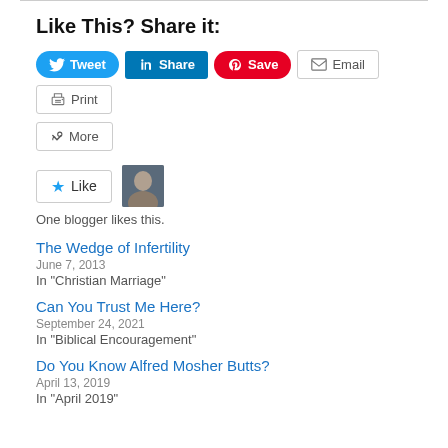Like This? Share it:
[Figure (screenshot): Social sharing buttons: Tweet (Twitter/blue), Share (LinkedIn/blue), Save (Pinterest/red), Email (outline), Print (outline), More (outline)]
[Figure (screenshot): Like button with star icon]
[Figure (photo): Small avatar photo of a person]
One blogger likes this.
The Wedge of Infertility
June 7, 2013
In "Christian Marriage"
Can You Trust Me Here?
September 24, 2021
In "Biblical Encouragement"
Do You Know Alfred Mosher Butts?
April 13, 2019
In "April 2019"